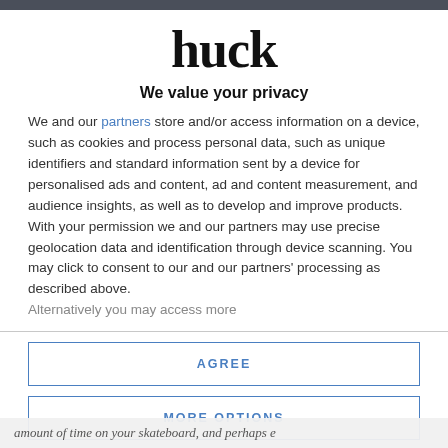[Figure (logo): huck logo in large bold serif font]
We value your privacy
We and our partners store and/or access information on a device, such as cookies and process personal data, such as unique identifiers and standard information sent by a device for personalised ads and content, ad and content measurement, and audience insights, as well as to develop and improve products. With your permission we and our partners may use precise geolocation data and identification through device scanning. You may click to consent to our and our partners' processing as described above. Alternatively you may access more
AGREE
MORE OPTIONS
amount of time on your skateboard, and perhaps e